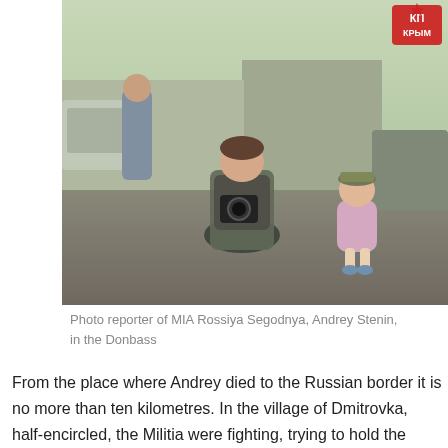[Figure (photo): Photo reporter Andrey Stenin wearing a bulletproof vest and holding a camera, kneeling down photographing a small toddler wearing a military cap and pink sweater, outdoors in the Donbass region. Another man stands in background near a white car.]
Photo reporter of MIA Rossiya Segodnya, Andrey Stenin, in the Donbass
From the place where Andrey died to the Russian border it is no more than ten kilometres. In the village of Dmitrovka, half-encircled, the Militia were fighting, trying to hold the 72nd and the 79th Airborne Brigades, and the 24th Mechanized Brigade in another cauldron. They were located to the east of Dmitrovka